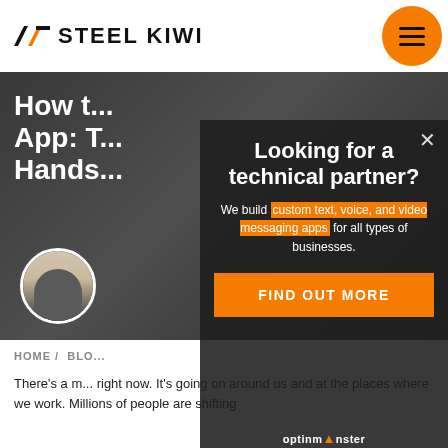SK STEEL KIWI
How to Build a Messaging App: The Hands...
[Figure (photo): Author avatar - woman with crossed arms]
HOME / BLO...
There's a major shift happening right now. It's going on around us and at the places where we work. Millions of people are shifting
[Figure (screenshot): Overlay modal popup: 'Looking for a technical partner? We build custom text, voice, and video messaging apps for all types of businesses.' with FIND OUT MORE button and OptinMonster badge]